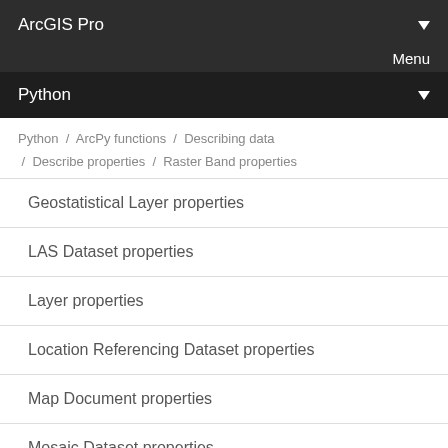ArcGIS Pro
Menu
Python
Python / ArcPy functions / Describing data / Describe properties / Raster Band properties
Geostatistical Layer properties
LAS Dataset properties
Layer properties
Location Referencing Dataset properties
Map Document properties
Mosaic Dataset properties
Network Analyst layer properties